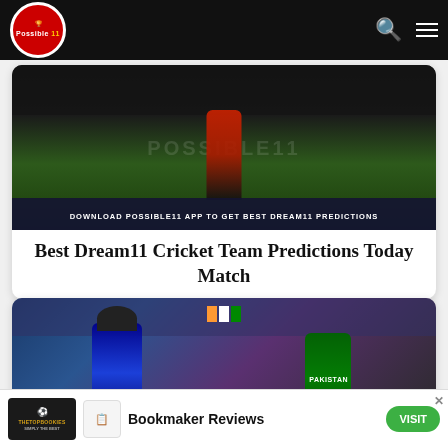[Figure (screenshot): Website header with Possible11 logo on dark background, search icon and hamburger menu icons on the right]
[Figure (photo): Cricket player in red/black uniform standing on a cricket field with POSSIBLE11 watermark overlay and banner reading DOWNLOAD POSSIBLE11 APP TO GET BEST DREAM11 PREDICTIONS]
Best Dream11 Cricket Team Predictions Today Match
[Figure (photo): Two cricket players, one in India blue uniform and one in Pakistan green uniform, facing each other at a cricket match]
[Figure (screenshot): Advertisement bar for TheTopBookies - Bookmaker Reviews with VISIT button]